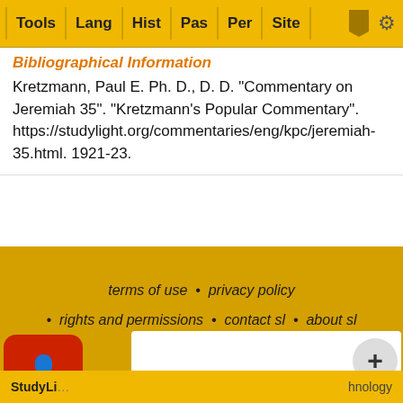Tools  Lang  Hist  Pas  Per  Site
Bibliographical Information
Kretzmann, Paul E. Ph. D., D. D. "Commentary on Jeremiah 35". "Kretzmann's Popular Commentary". https://studylight.org/commentaries/eng/kpc/jeremiah-35.html. 1921-23.
terms of use  •  privacy policy  •  rights and permissions  •  contact sl  •  about sl  •  link to sl
To report dead links, typos, or html errors or suggestions about making these resources more useful use the convenient contact form
StudyLight  ...hnology